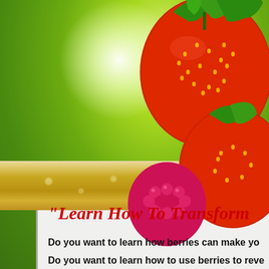[Figure (photo): Green textured background with light burst, golden/amber horizontal bar, and large red strawberries and raspberry in the upper right portion of the image]
"Learn How To Transform
Do you want to learn how berries can make yo
Do you want to learn how to use berries to reve